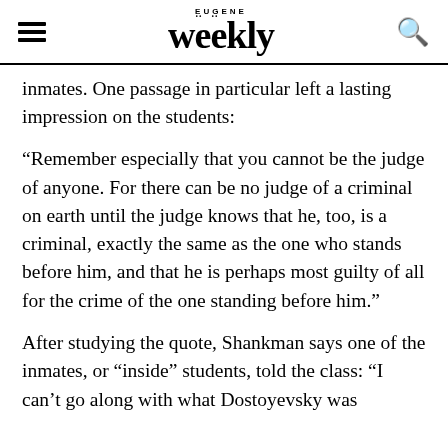Eugene Weekly
inmates. One passage in particular left a lasting impression on the students:
“Remember especially that you cannot be the judge of anyone. For there can be no judge of a criminal on earth until the judge knows that he, too, is a criminal, exactly the same as the one who stands before him, and that he is perhaps most guilty of all for the crime of the one standing before him.”
After studying the quote, Shankman says one of the inmates, or “inside” students, told the class: “I can’t go along with what Dostoyevsky was